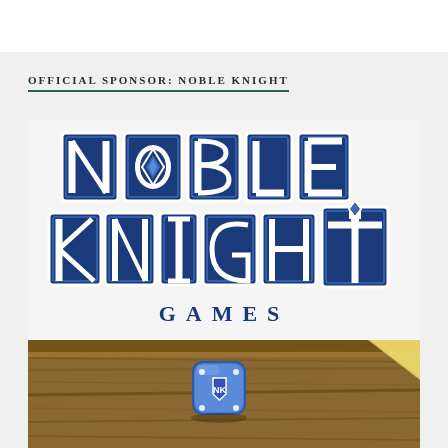OFFICIAL SPONSOR: NOBLE KNIGHT
[Figure (logo): Noble Knight Games logo — stylized medieval gothic lettering in dark blue with white outlines reading 'NOBLE KNIGHT GAMES', with a diamond/kite shield emblem in the letter O of NOBLE.]
[Figure (photo): Photo of a blue Noble Knight Games branded die with the NK logo on a wooden table surface, with some game components visible in the corner.]